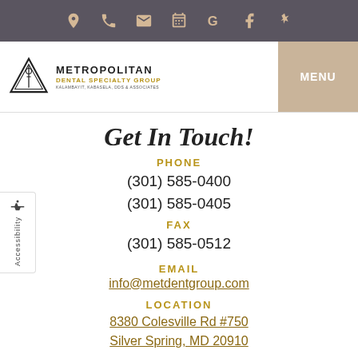Navigation icons: location, phone, email, calendar, Google, Facebook, Yelp
[Figure (logo): Metropolitan Dental Specialty Group logo with triangle and dental instrument icon]
Get In Touch!
PHONE
(301) 585-0400
(301) 585-0405
FAX
(301) 585-0512
EMAIL
info@metdentgroup.com
LOCATION
8380 Colesville Rd #750
Silver Spring, MD 20910
Request Appointment